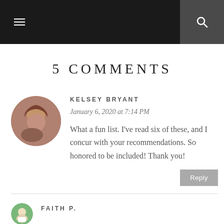navigation header with menu and search icons
5 COMMENTS
KELSEY BRYANT
January 6, 2020 at 7:14 PM
What a fun list. I've read six of these, and I concur with your recommendations. So honored to be included! Thank you!
FAITH P.